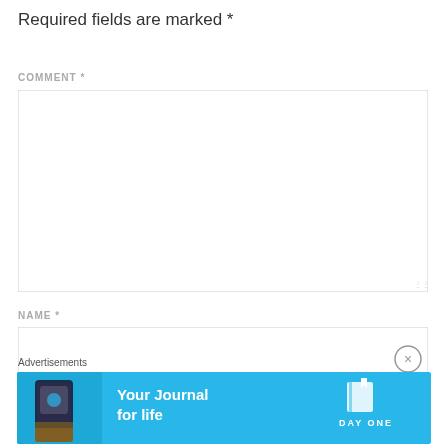Required fields are marked *
COMMENT *
[Figure (screenshot): Empty comment textarea form field with resize handle in bottom right corner]
NAME *
[Figure (screenshot): Empty name text input field with a close/dismiss button (circled X) overlay]
Advertisements
[Figure (infographic): DayOne app advertisement banner: blue background, phone image on left, 'Your Journal for life' headline in center, DayOne book icon and logo on right]